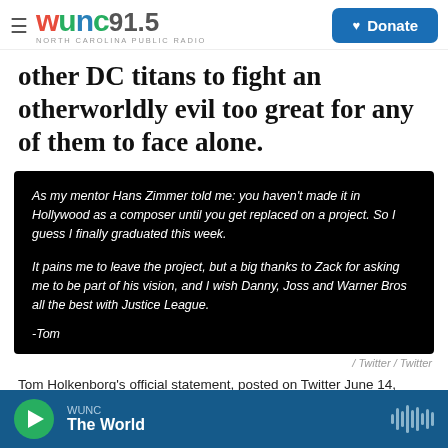WUNC 91.5 NORTH CAROLINA PUBLIC RADIO | Donate
other DC titans to fight an otherworldly evil too great for any of them to face alone.
[Figure (screenshot): Black background tweet/social media post image with italic white text: 'As my mentor Hans Zimmer told me: you haven't made it in Hollywood as a composer until you get replaced on a project. So I guess I finally graduated this week. It pains me to leave the project, but a big thanks to Zack for asking me to be part of his vision, and I wish Danny, Joss and Warner Bros all the best with Justice League. -Tom']
/ Twitter / Twitter
Tom Holkenborg's official statement, posted on Twitter June 14, 2017, after he was fired from Justice League.
WUNC | The World